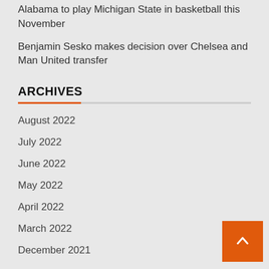Alabama to play Michigan State in basketball this November
Benjamin Sesko makes decision over Chelsea and Man United transfer
ARCHIVES
August 2022
July 2022
June 2022
May 2022
April 2022
March 2022
December 2021